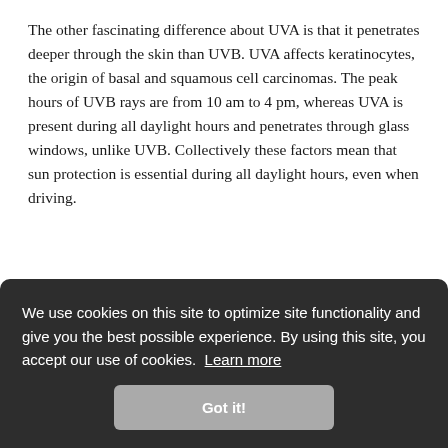The other fascinating difference about UVA is that it penetrates deeper through the skin than UVB. UVA affects keratinocytes, the origin of basal and squamous cell carcinomas. The peak hours of UVB rays are from 10 am to 4 pm, whereas UVA is present during all daylight hours and penetrates through glass windows, unlike UVB. Collectively these factors mean that sun protection is essential during all daylight hours, even when driving.
We use cookies on this site to optimize site functionality and give you the best possible experience. By using this site, you accept our use of cookies. Learn more